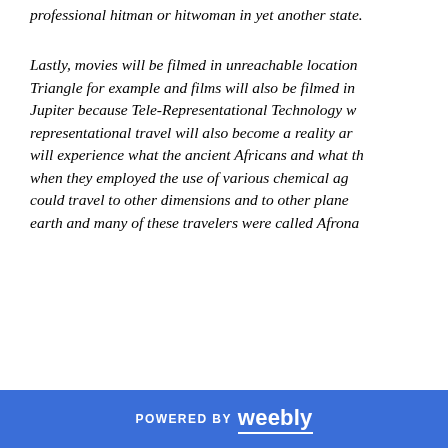professional hitman or hitwoman in yet another state.
Lastly, movies will be filmed in unreachable locations like the Bermuda Triangle for example and films will also be filmed in space on the moon or Jupiter because Tele-Representational Technology will be available and representational travel will also become a reality and movie viewers will experience what the ancient Africans and what the ancient Asians when they employed the use of various chemical agents reported that they could travel to other dimensions and to other planes higher than the earth and many of these travelers were called Afrona...
POWERED BY weebly